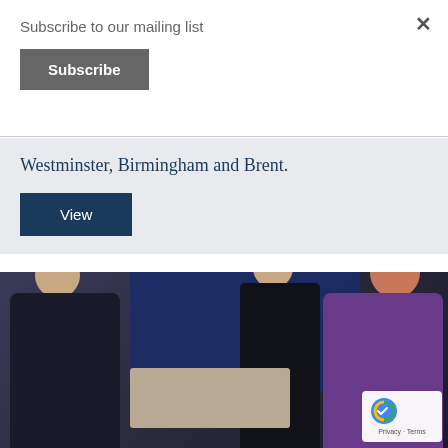Subscribe to our mailing list
[Figure (screenshot): Subscribe button — dark grey rectangular button with white text 'Subscribe']
Westminster, Birmingham and Brent.
[Figure (screenshot): View button — dark navy blue rectangular button with white text 'View']
[Figure (photo): Photograph of three people standing indoors against a blue wall. Left: man in navy fleece and khaki trousers. Centre: man in dark clothing. Right: woman with red hair in a floral purple top. Boxes and equipment on a table in front of them. reCAPTCHA badge visible in the bottom-right corner.]